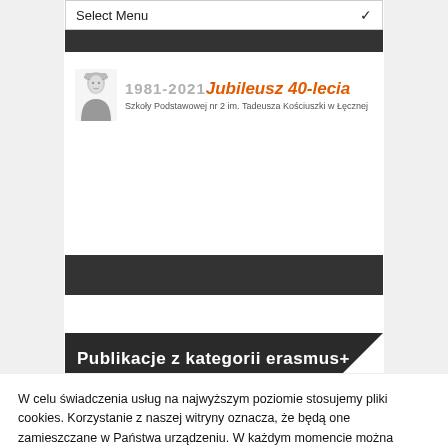Select Menu
[Figure (logo): School jubilee logo: portrait of Tadeusz Kościuszko, years 1981-2021, Jubileusz 40-lecia, Szkoły Podstawowej nr 2 im. Tadeusza Kościuszki w Łęcznej]
Publikacje z kategorii erasmus+
W celu świadczenia usług na najwyższym poziomie stosujemy pliki cookies. Korzystanie z naszej witryny oznacza, że będą one zamieszczane w Państwa urządzeniu. W każdym momencie można dokonać zmiany ustawień Państwa przeglądarki.
Ustawienia ciasteczek
Zaakceptuj wszystkie